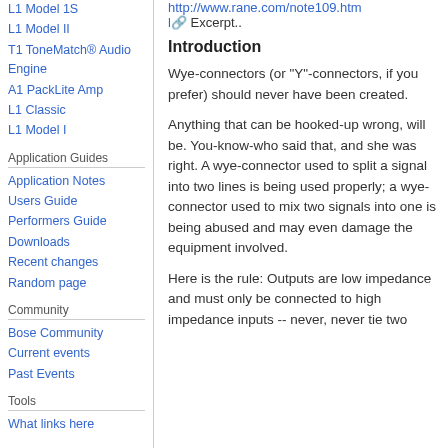L1 Model 1S
L1 Model II
T1 ToneMatch® Audio Engine
A1 PackLite Amp
L1 Classic
L1 Model I
Application Guides
Application Notes
Users Guide
Performers Guide
Downloads
Recent changes
Random page
Community
Bose Community
Current events
Past Events
Tools
What links here
http://www.rane.com/note109.html Excerpt..
Introduction
Wye-connectors (or "Y"-connectors, if you prefer) should never have been created.
Anything that can be hooked-up wrong, will be. You-know-who said that, and she was right. A wye-connector used to split a signal into two lines is being used properly; a wye-connector used to mix two signals into one is being abused and may even damage the equipment involved.
Here is the rule: Outputs are low impedance and must only be connected to high impedance inputs -- never, never tie two